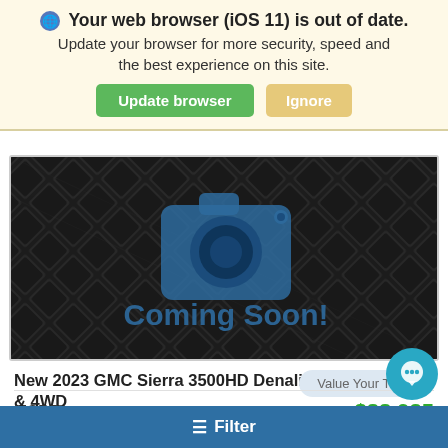Your web browser (iOS 11) is out of date. Update your browser for more security, speed and the best experience on this site.
[Figure (screenshot): Coming Soon placeholder image with camera icon on dark metal grid background]
New 2023 GMC Sierra 3500HD Denali With Navigation & 4WD
MSRP $88,935
Visit With Us about your specific vehicle needs!
Filter